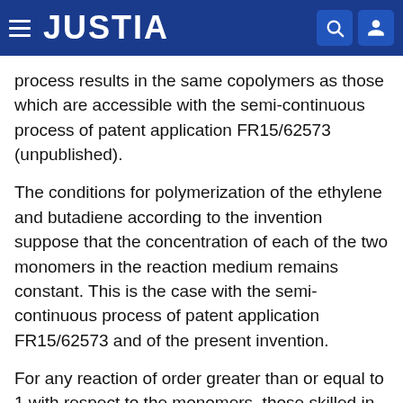JUSTIA
process results in the same copolymers as those which are accessible with the semi-continuous process of patent application FR15/62573 (unpublished).
The conditions for polymerization of the ethylene and butadiene according to the invention suppose that the concentration of each of the two monomers in the reaction medium remains constant. This is the case with the semi-continuous process of patent application FR15/62573 and of the present invention.
For any reaction of order greater than or equal to 1 with respect to the monomers, those skilled in the art deduce, in a trivial manner, that the rates of insertion of each unit into the chain also remain constant throughout the polymerization.
In the particular case of the invention, the prediction of